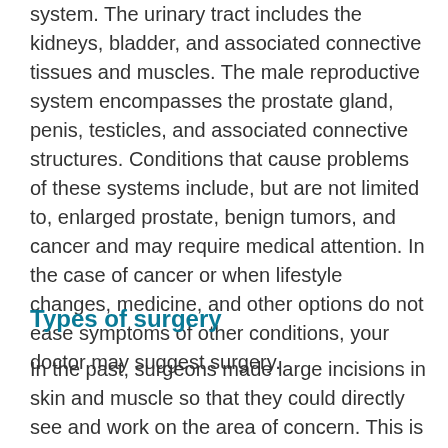system. The urinary tract includes the kidneys, bladder, and associated connective tissues and muscles. The male reproductive system encompasses the prostate gland, penis, testicles, and associated connective structures. Conditions that cause problems of these systems include, but are not limited to, enlarged prostate, benign tumors, and cancer and may require medical attention. In the case of cancer or when lifestyle changes, medicine, and other options do not ease symptoms of other conditions, your doctor may suggest surgery.
Types of surgery
In the past, surgeons made large incisions in skin and muscle so that they could directly see and work on the area of concern. This is called open surgery. Today doctors still use open surgery, but there are also